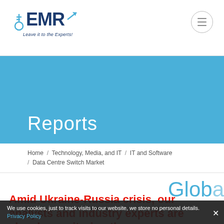EMR — Leave it to the Experts! [logo with menu button]
Reports
Home / Technology, Media, and IT / IT and Software / Data Centre Switch Market
Glob
Amid Ukraine-Russia crisis, our analysts and industry experts are closely monitoring the market and working hard to identify, gauge
We use cookies, just to track visits to our website, we store no personal details. Privacy Policy  ×